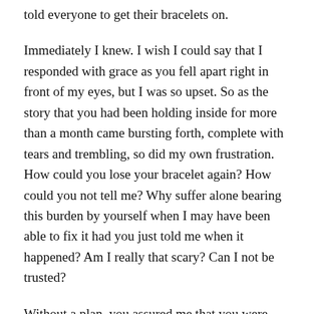told everyone to get their bracelets on.
Immediately I knew. I wish I could say that I responded with grace as you fell apart right in front of my eyes, but I was so upset. So as the story that you had been holding inside for more than a month came bursting forth, complete with tears and trembling, so did my own frustration. How could you lose your bracelet again? How could you not tell me? Why suffer alone bearing this burden by yourself when I may have been able to fix it had you just told me when it happened? Am I really that scary? Can I not be trusted?
Without a plan, you assured me that you were going to fix it.  Perhaps you were still determined to find it at school despite the strong evidence that it had been stolen. Or perhaps you were going to take odd jobs or sell some of